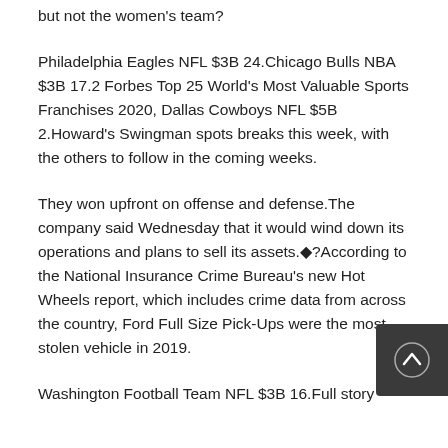but not the women's team?
Philadelphia Eagles NFL $3B 24.Chicago Bulls NBA $3B 17.2 Forbes Top 25 World's Most Valuable Sports Franchises 2020, Dallas Cowboys NFL $5B 2.Howard's Swingman spots breaks this week, with the others to follow in the coming weeks.
They won upfront on offense and defense.The company said Wednesday that it would wind down its operations and plans to sell its assets.◆?According to the National Insurance Crime Bureau's new Hot Wheels report, which includes crime data from across the country, Ford Full Size Pick-Ups were the most stolen vehicle in 2019.
Washington Football Team NFL $3B 16.Full story